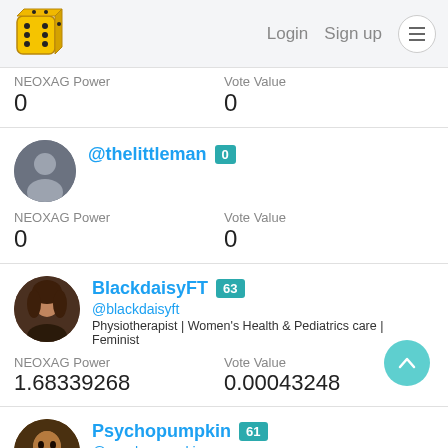Login  Sign up  ☰
NEOXAG Power: 0   Vote Value: 0
@thelittleman  0
NEOXAG Power: 0   Vote Value: 0
BlackdaisyFT  63
@blackdaisyft
Physiotherapist | Women's Health & Pediatrics care | Feminist
NEOXAG Power: 1.68339268   Vote Value: 0.00043248
Psychopumpkin  61
@psychopumpkin
"A picture is worth a thousand words"